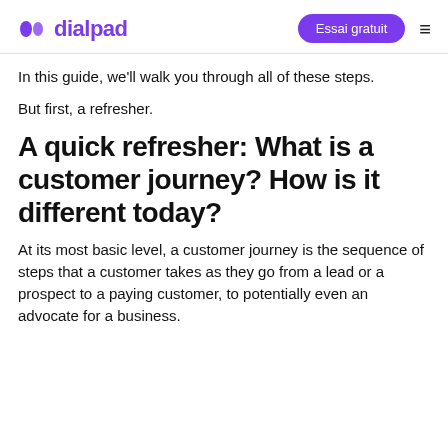dialpad | Essai gratuit
In this guide, we'll walk you through all of these steps.
But first, a refresher.
A quick refresher: What is a customer journey? How is it different today?
At its most basic level, a customer journey is the sequence of steps that a customer takes as they go from a lead or a prospect to a paying customer, to potentially even an advocate for a business.